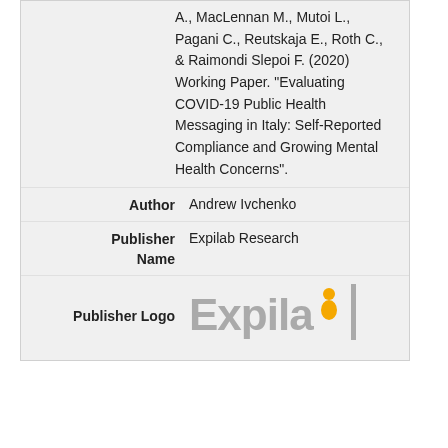A., MacLennan M., Mutoi L., Pagani C., Reutskaja E., Roth C., & Raimondi Slepoi F. (2020) Working Paper. "Evaluating COVID-19 Public Health Messaging in Italy: Self-Reported Compliance and Growing Mental Health Concerns".
| Author | Andrew Ivchenko |
| Publisher Name | Expilab Research |
| Publisher Logo | Expilab Research [logo] |